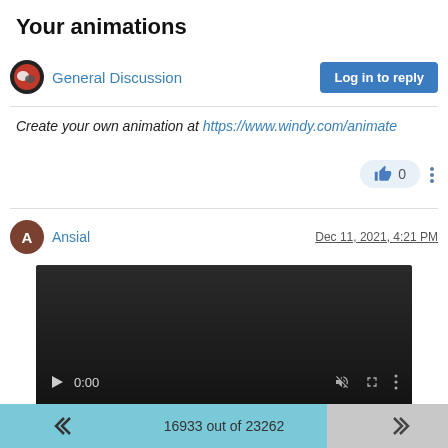Your animations
General Discussion
Log in to reply
Create your own animation at https://www.windy.com/animate
0
Ansial
Dec 11, 2021, 4:21 PM
[Figure (screenshot): Embedded video player showing a dark video with playback controls: play button, time counter showing 0:00, mute icon, fullscreen icon, more options icon, and a progress bar at the bottom.]
16933 out of 23262